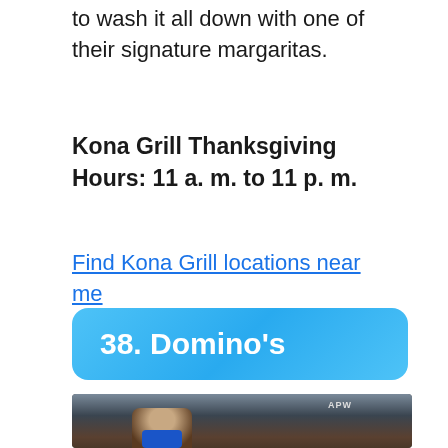to wash it all down with one of their signature margaritas.
Kona Grill Thanksgiving Hours: 11 a. m. to 11 p. m.
Find Kona Grill locations near me
38. Domino's
[Figure (photo): A Domino's delivery driver wearing a blue face mask inside a delivery vehicle, with an APW sign visible overhead.]